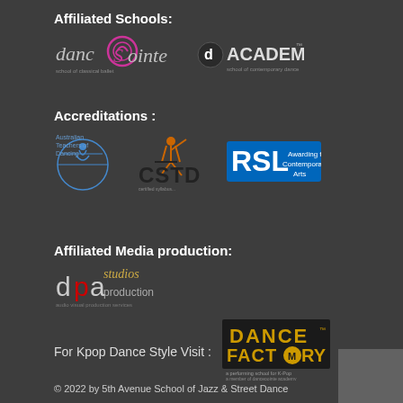Affiliated Schools:
[Figure (logo): dancePointe school of classical ballet logo — stylized cursive text with pink swirl]
[Figure (logo): dACADEMY school of contemporary dance logo — dark circular icon with white text]
Accreditations :
[Figure (logo): Australian Teachers of Dancing logo — circular blue logo with dancer silhouette]
[Figure (logo): CSTD logo — black text with orange dancer silhouette]
[Figure (logo): RSL Awarding the Contemporary Arts logo — blue rectangle with white RSL text]
Affiliated Media production:
[Figure (logo): dpa studios production logo — black and red lettering]
For Kpop Dance Style Visit :
[Figure (logo): Dance Factory logo — gold and black text, a performing school for K-Pop, a member of dancepointe academy]
© 2022 by 5th Avenue School of Jazz & Street Dance